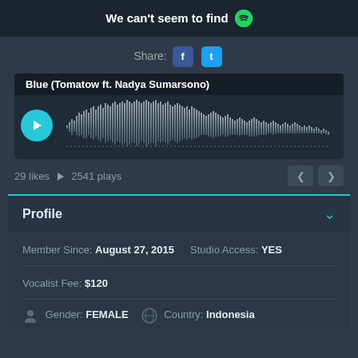[Figure (screenshot): Error banner reading 'We can't seem to find' with a Spotify logo icon]
Share: [Facebook icon] [Twitter icon]
[Figure (other): Audio waveform player for 'Blue (Tomatow ft. Nadya Sumarsono)' with play button and waveform visualization]
29 likes ▶ 2541 plays
Profile
Member Since: August 27, 2015   Studio Access: YES
Vocalist Fee: $120
Gender: FEMALE   Country: Indonesia